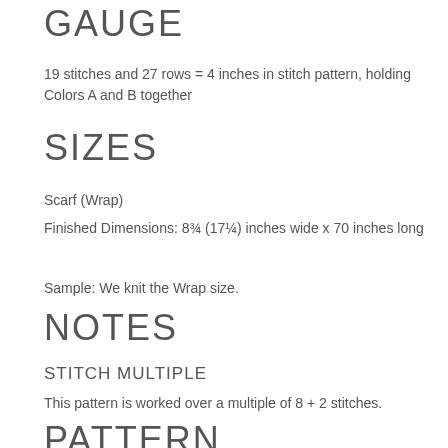GAUGE
19 stitches and 27 rows = 4 inches in stitch pattern, holding Colors A and B together
SIZES
Scarf (Wrap)
Finished Dimensions: 8¾ (17¼) inches wide x 70 inches long
Sample: We knit the Wrap size.
NOTES
STITCH MULTIPLE
This pattern is worked over a multiple of 8 + 2 stitches.
PATTERN